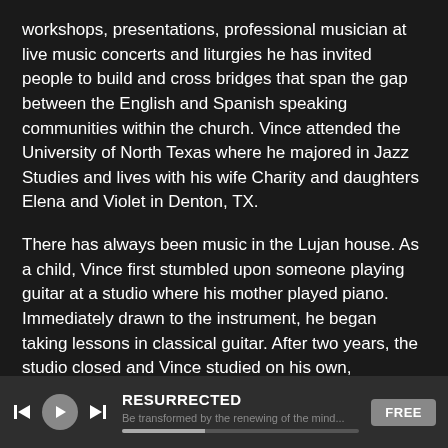workshops, presentations, professional musician at live music concerts and liturgies he has invited people to build and cross bridges that span the gap between the English and Spanish speaking communities within the church. Vince attended the University of North Texas where he majored in Jazz Studies and lives with his wife Charity and daughters Elena and Violet in Denton, TX.
There has always been music in the Lujan house. As a child, Vince first stumbled upon someone playing guitar at a studio where his mother played piano. Immediately drawn to the instrument, he began taking lessons in classical guitar. After two years, the studio closed and Vince studied on his own, immersing himself in classic rock n' roll, tejano and latin music on the home radio. He listened closely to the styles of Chuck Berry, Buddy Holly, Ritchie Valens, and the early Beatles. He maintained and improved his guitar skills by joining a local band, playing. The studio closed at
RESURRECTED | FREE